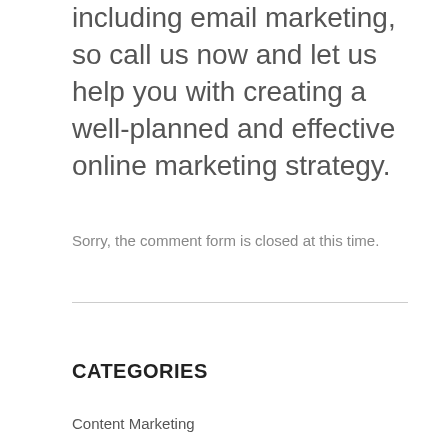including email marketing, so call us now and let us help you with creating a well-planned and effective online marketing strategy.
Sorry, the comment form is closed at this time.
CATEGORIES
Content Marketing